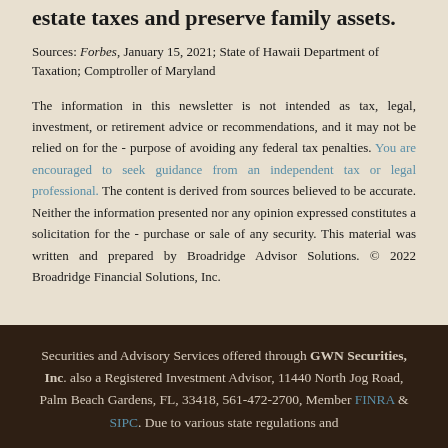A trust can be an effective way to help reduce estate taxes and preserve family assets.
Sources: Forbes, January 15, 2021; State of Hawaii Department of Taxation; Comptroller of Maryland
The information in this newsletter is not intended as tax, legal, investment, or retirement advice or recommendations, and it may not be relied on for the purpose of avoiding any federal tax penalties. You are encouraged to seek guidance from an independent tax or legal professional. The content is derived from sources believed to be accurate. Neither the information presented nor any opinion expressed constitutes a solicitation for the purchase or sale of any security. This material was written and prepared by Broadridge Advisor Solutions. © 2022 Broadridge Financial Solutions, Inc.
Securities and Advisory Services offered through GWN Securities, Inc. also a Registered Investment Advisor, 11440 North Jog Road, Palm Beach Gardens, FL, 33418, 561-472-2700, Member FINRA & SIPC. Due to various state regulations and